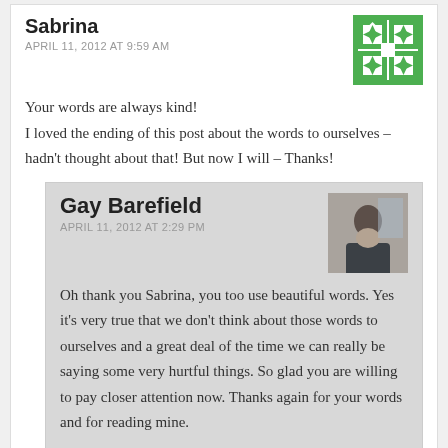Sabrina
APRIL 11, 2012 AT 9:59 AM
Your words are always kind!
I loved the ending of this post about the words to ourselves – hadn't thought about that! But now I will – Thanks!
Gay Barefield
APRIL 11, 2012 AT 2:29 PM
Oh thank you Sabrina, you too use beautiful words. Yes it's very true that we don't think about those words to ourselves and a great deal of the time we can really be saying some very hurtful things. So glad you are willing to pay closer attention now. Thanks again for your words and for reading mine.
darlene
APRIL 14, 2012 AT 8:24 PM